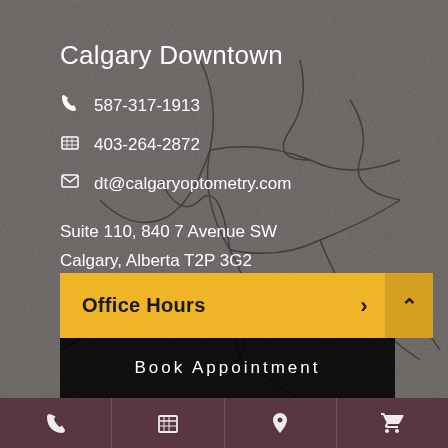Calgary Downtown
📞 587-317-1913
🖨 403-264-2872
✉ dt@calgaryoptometry.com
Suite 110, 840 7 Avenue SW
Calgary, Alberta T2P 3G2
*All offices are closed at lunch
Office Hours ›
Book Appointment
[Figure (other): Background image of cracked/veiny tissue or stone texture in grayscale]
Phone icon
Calendar icon
Location pin icon
Shopping cart icon